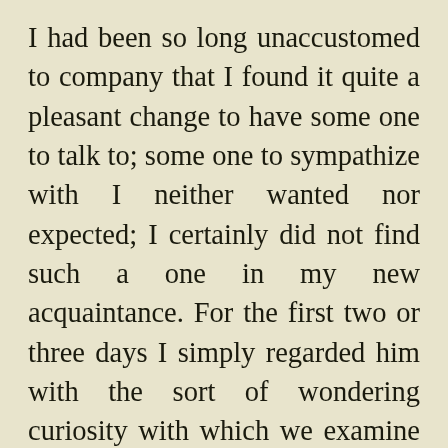I had been so long unaccustomed to company that I found it quite a pleasant change to have some one to talk to; some one to sympathize with I neither wanted nor expected; I certainly did not find such a one in my new acquaintance. For the first two or three days I simply regarded him with the sort of wondering curiosity with which we examine a new natural phenomenon of any sort. His perfect self-possession and coolness, the nil-admirari and nil-agitariatmosphere which surrounded him, excited my admiration at first, till I discovered that it arose, not from the composure of a mind too deep